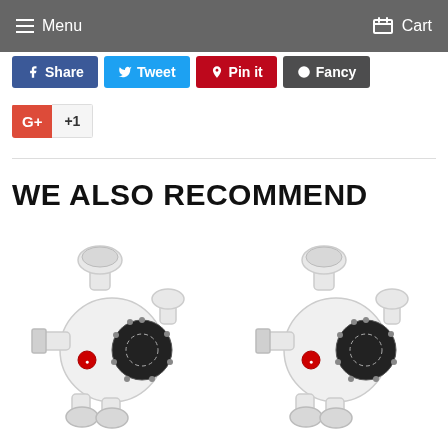Menu   Cart
Share   Tweet   Pin it   Fancy   +1
WE ALSO RECOMMEND
[Figure (photo): Two white industrial diaphragm pumps with black diaphragm discs and red brand badge, side by side]
[Figure (photo): Second white industrial diaphragm pump with black diaphragm disc and red brand badge]